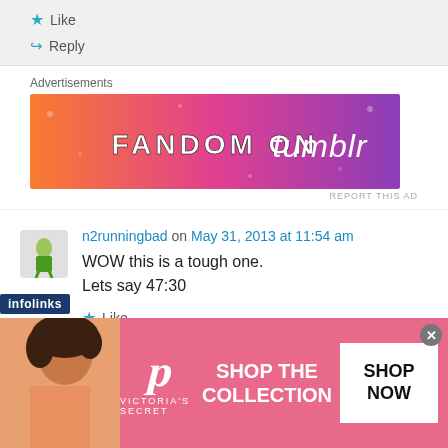★ Like
↪ Reply
Advertisements
[Figure (illustration): Tumblr Fandom advertisement banner with orange to purple gradient background and bold white text 'FANDOM ON tumblr']
REPORT THIS AD
n2runningbad on May 31, 2013 at 11:54 am
WOW this is a tough one.
Lets say 47:30
★ Like
[Figure (illustration): Victoria's Secret advertisement banner with pink background, model photo, VS logo, 'SHOP THE COLLECTION' text, and 'SHOP NOW' button]